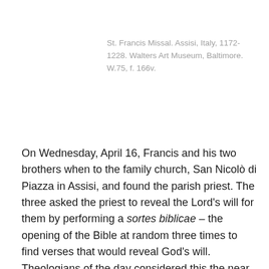St. Francis Missal. Assisi, Italy, 1172-1228. Walters Art Museum, Baltimore. W.75, f. 166v.
On Wednesday, April 16, Francis and his two brothers when to the family church, San Nicolò di Piazza in Assisi, and found the parish priest. The three asked the priest to reveal the Lord's will for them by performing a sortes biblicae – the opening of the Bible at random three times to find verses that would reveal God's will. Theologians of the day considered this the near occasion of superstition and church rulers debated whether it was even permissible – but it was a popular practice of the laity in Francis' time. The parish priest used the altar missal to guide the brothers. Interestingly, that altar missal is now part of the collection of the Walters Museum in Baltimore –